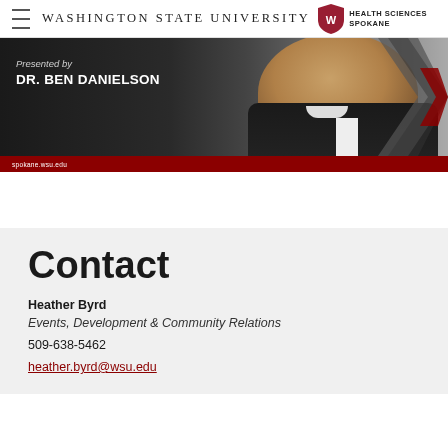Washington State University Health Sciences Spokane
[Figure (photo): Promotional banner with a man in a suit smiling, text reading 'Presented by DR. BEN DANIELSON', red bar at bottom with spokane.wsu.edu, and chevron design on right side.]
Contact
Heather Byrd
Events, Development & Community Relations
509-638-5462
heather.byrd@wsu.edu